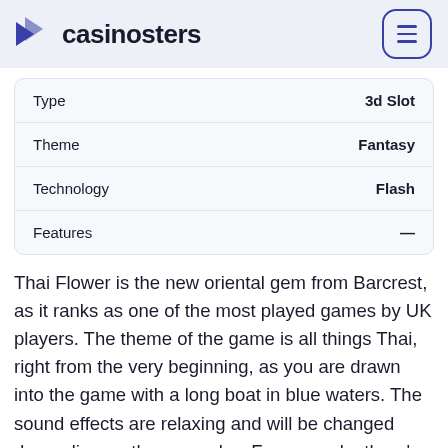casinosters
|  |  |
| --- | --- |
| Type | 3d Slot |
| Theme | Fantasy |
| Technology | Flash |
| Features | — |
Thai Flower is the new oriental gem from Barcrest, as it ranks as one of the most played games by UK players. The theme of the game is all things Thai, right from the very beginning, as you are drawn into the game with a long boat in blue waters. The sound effects are relaxing and will be changed depending on the gameplay. For example, there's a drum roll denoting the appearing flower and the noise of the cash register indicating that you win. The slot boasts not only a superb design and soundtrack, but also a